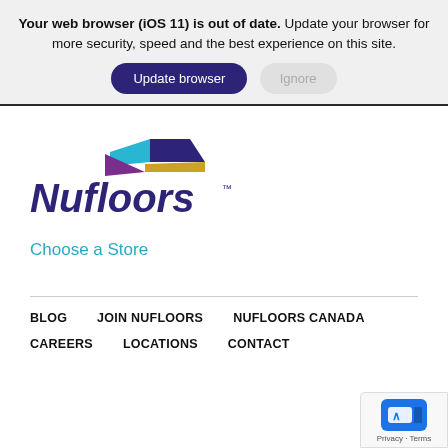Your web browser (iOS 11) is out of date. Update your browser for more security, speed and the best experience on this site.
[Figure (screenshot): Two buttons: 'Update browser' (dark purple, rounded) and 'Ignore' (light gray, rounded)]
[Figure (logo): Nufloors logo with colorful geometric shapes (blue, teal, gold, purple triangles/parallelograms) above purple italic 'Nufloors' wordmark]
Choose a Store
BLOG   JOIN NUFLOORS   NUFLOORS CANADA   CAREERS   LOCATIONS   CONTACT